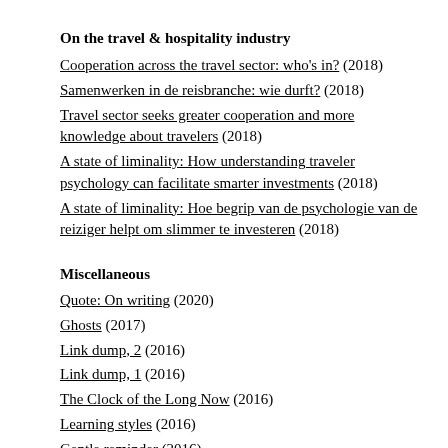On the travel & hospitality industry
Cooperation across the travel sector: who's in? (2018)
Samenwerken in de reisbranche: wie durft? (2018)
Travel sector seeks greater cooperation and more knowledge about travelers (2018)
A state of liminality: How understanding traveler psychology can facilitate smarter investments (2018)
A state of liminality: Hoe begrip van de psychologie van de reiziger helpt om slimmer te investeren (2018)
Miscellaneous
Quote: On writing (2020)
Ghosts (2017)
Link dump, 2 (2016)
Link dump, 1 (2016)
The Clock of the Long Now (2016)
Learning styles (2016)
Gentle reminder (2016)